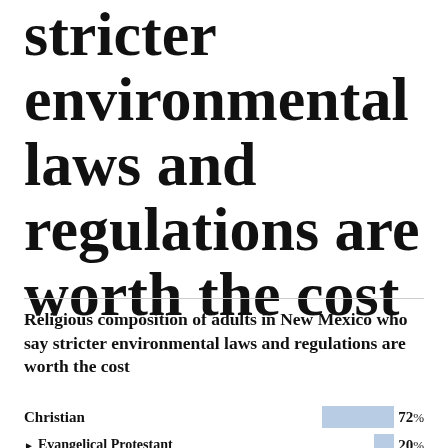stricter environmental laws and regulations are worth the cost
Religious composition of adults in New Mexico who say stricter environmental laws and regulations are worth the cost
[Figure (bar-chart): Religious composition of adults in New Mexico who say stricter environmental laws and regulations are worth the cost]